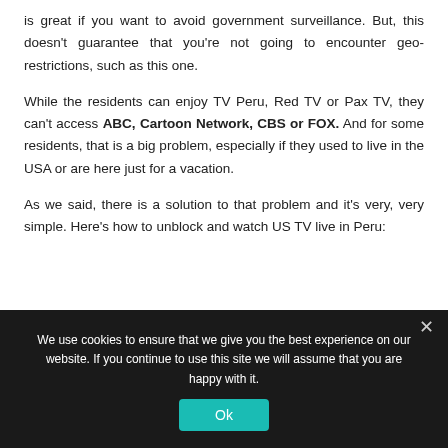is great if you want to avoid government surveillance. But, this doesn't guarantee that you're not going to encounter geo-restrictions, such as this one.
While the residents can enjoy TV Peru, Red TV or Pax TV, they can't access ABC, Cartoon Network, CBS or FOX. And for some residents, that is a big problem, especially if they used to live in the USA or are here just for a vacation.
As we said, there is a solution to that problem and it's very, very simple. Here's how to unblock and watch US TV live in Peru:
We use cookies to ensure that we give you the best experience on our website. If you continue to use this site we will assume that you are happy with it.